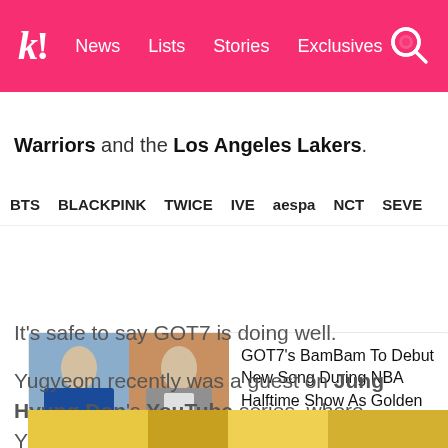k! News Lists Stories Exclusives
BTS BLACKPINK TWICE IVE aespa NCT SEVE
Warriors and the Los Angeles Lakers.
[Figure (photo): Article card with two photos (K-pop and NBA player) and headline: GOT7's BamBam To Debut New Song During NBA Halftime Show As Golden State Warriors' Ambassador]
It's safe to say GOT7 is doing well.
Yugyeom recently was a guest on Jung Hyung Don's YouTube series, where Yugyeom was asked to introduce himself. However, Jung Hyung Don wanted a little bit more.
[Figure (photo): Bottom partial image strip showing colorful scene]